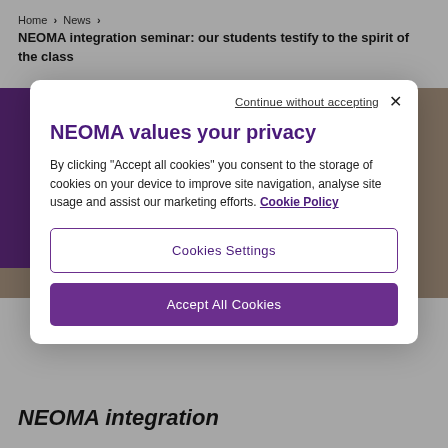Home > News >
NEOMA integration seminar: our students testify to the spirit of the class
[Figure (screenshot): Background photo of food/dining scene with purple sidebar band]
Continue without accepting ×
NEOMA values your privacy
By clicking "Accept all cookies" you consent to the storage of cookies on your device to improve site navigation, analyse site usage and assist our marketing efforts. Cookie Policy
Cookies Settings
Accept All Cookies
NEOMA integration